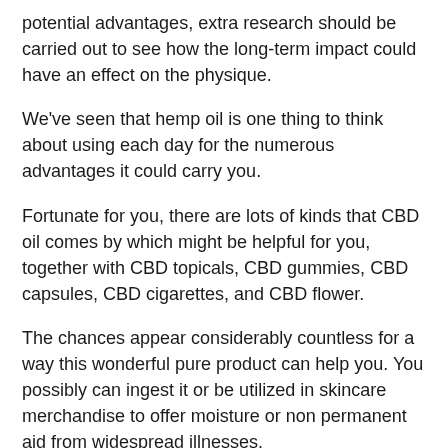potential advantages, extra research should be carried out to see how the long-term impact could have an effect on the physique.
We've seen that hemp oil is one thing to think about using each day for the numerous advantages it could carry you.
Fortunate for you, there are lots of kinds that CBD oil comes by which might be helpful for you, together with CBD topicals, CBD gummies, CBD capsules, CBD cigarettes, and CBD flower.
The chances appear considerably countless for a way this wonderful pure product can help you. You possibly can ingest it or be utilized in skincare merchandise to offer moisture or non permanent aid from widespread illnesses.
references
iTeam, S., & Hassan, H. (2019). Cannabidiol Demonstrates...